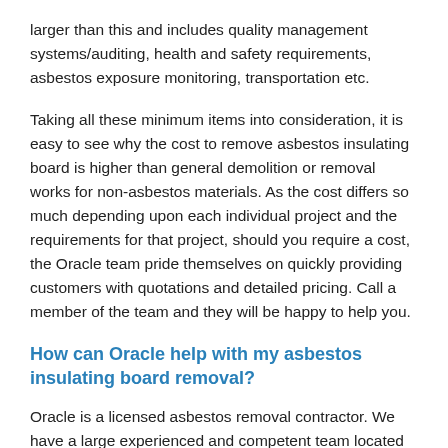larger than this and includes quality management systems/auditing, health and safety requirements, asbestos exposure monitoring, transportation etc.
Taking all these minimum items into consideration, it is easy to see why the cost to remove asbestos insulating board is higher than general demolition or removal works for non-asbestos materials. As the cost differs so much depending upon each individual project and the requirements for that project, should you require a cost, the Oracle team pride themselves on quickly providing customers with quotations and detailed pricing. Call a member of the team and they will be happy to help you.
How can Oracle help with my asbestos insulating board removal?
Oracle is a licensed asbestos removal contractor. We have a large experienced and competent team located throughout the whole of the UK. We...